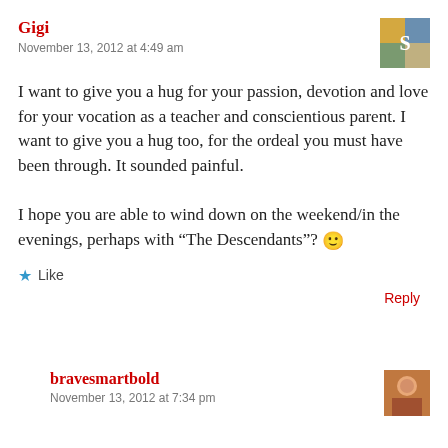Gigi
November 13, 2012 at 4:49 am
I want to give you a hug for your passion, devotion and love for your vocation as a teacher and conscientious parent. I want to give you a hug too, for the ordeal you must have been through. It sounded painful.

I hope you are able to wind down on the weekend/in the evenings, perhaps with “The Descendants”? 🙂
★ Like
Reply
bravesmartbold
November 13, 2012 at 7:34 pm